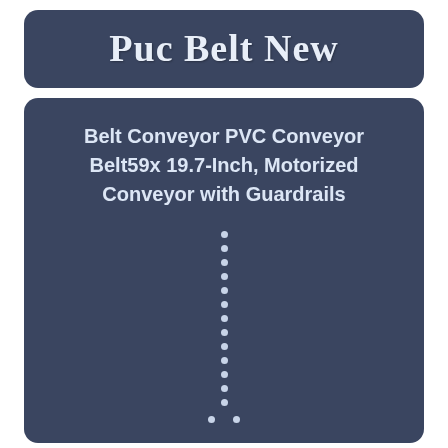Puc Belt New
Belt Conveyor PVC Conveyor Belt59x 19.7-Inch, Motorized Conveyor with Guardrails